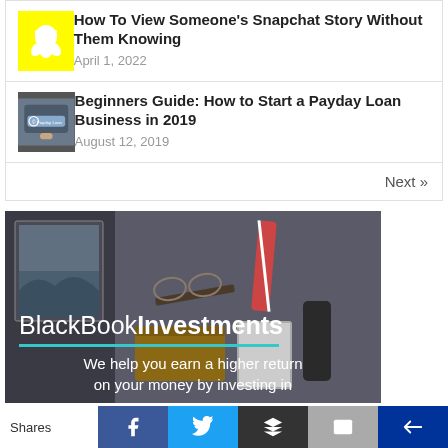[Figure (screenshot): Snapchat ghost logo on yellow background thumbnail]
How To View Someone's Snapchat Story Without Them Knowing
April 1, 2022
[Figure (photo): Payday Loan text on a smartphone screen, hand touching screen]
Beginners Guide: How to Start a Payday Loan Business in 2019
August 12, 2019
Next »
[Figure (photo): BlackBookInvestments banner over dark lifestyle photo with glasses, wallet, notebook. Tagline: We help you earn a higher return on your money by investing in]
Shares